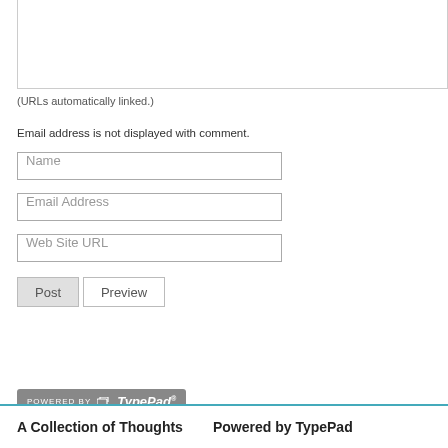[Figure (screenshot): Textarea input box (comment field), partially visible at top of page]
(URLs automatically linked.)
Email address is not displayed with comment.
[Figure (screenshot): Name input field with placeholder text 'Name']
[Figure (screenshot): Email Address input field with placeholder text 'Email Address']
[Figure (screenshot): Web Site URL input field with placeholder text 'Web Site URL']
[Figure (screenshot): Post and Preview buttons]
[Figure (logo): Powered by TypePad badge/logo in grey]
A Collection of Thoughts    Powered by TypePad